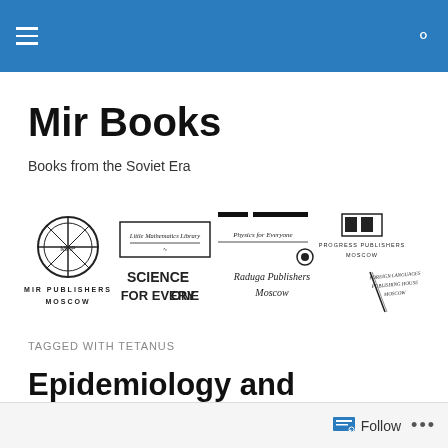Mir Books
Mir Books
Books from the Soviet Era
[Figure (logo): Collection of Soviet-era publisher logos: Mir Publishers Moscow, Little Mathematics Library, Physics for Everyone, Science for Everyone, Raduga Publishers Moscow, Progress Publishers Moscow, and Foreign Languages Publishing House Moscow]
TAGGED WITH TETANUS
Epidemiology and Fundamentals of Infectious Diseases